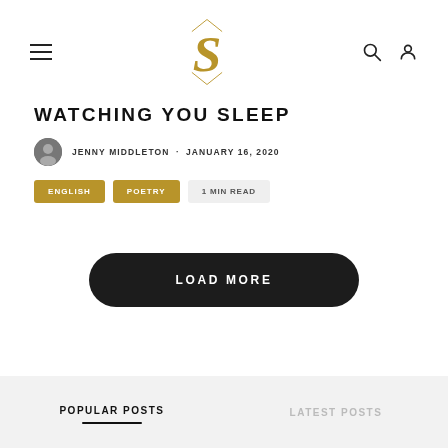S (logo) — navigation header with hamburger menu, search and user icons
WATCHING YOU SLEEP
JENNY MIDDLETON · JANUARY 16, 2020
ENGLISH  POETRY  1 MIN READ
LOAD MORE
POPULAR POSTS  LATEST POSTS